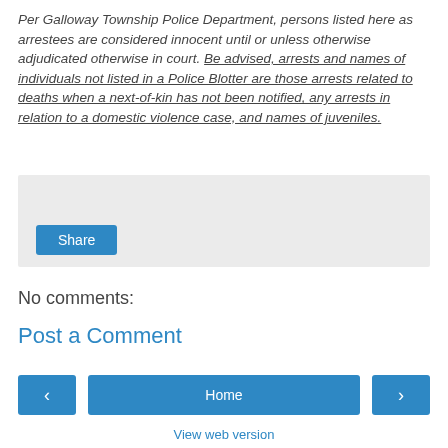Per Galloway Township Police Department, persons listed here as arrestees are considered innocent until or unless otherwise adjudicated otherwise in court. Be advised, arrests and names of individuals not listed in a Police Blotter are those arrests related to deaths when a next-of-kin has not been notified, any arrests in relation to a domestic violence case, and names of juveniles.
[Figure (screenshot): A light gray box containing a blue Share button at the bottom left]
No comments:
Post a Comment
[Figure (screenshot): Navigation row with left arrow button, Home button, and right arrow button, all in blue]
View web version